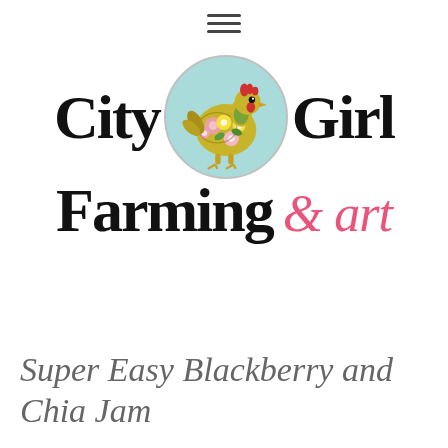[Figure (logo): City Girl Farming & art logo with a floral chicken in a teal circle]
Super Easy Blackberry and Chia Jam